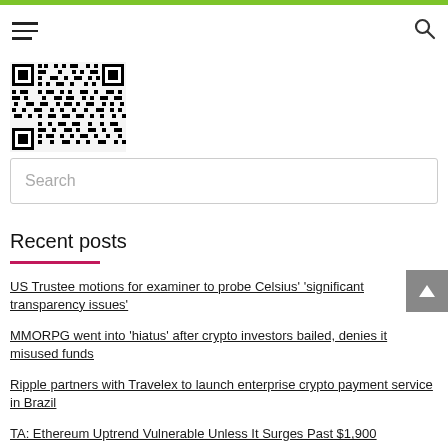[Figure (other): QR code image in upper left area]
Search
Recent posts
US Trustee motions for examiner to probe Celsius' 'significant transparency issues'
MMORPG went into 'hiatus' after crypto investors bailed, denies it misused funds
Ripple partners with Travelex to launch enterprise crypto payment service in Brazil
TA: Ethereum Uptrend Vulnerable Unless It Surges Past $1,900